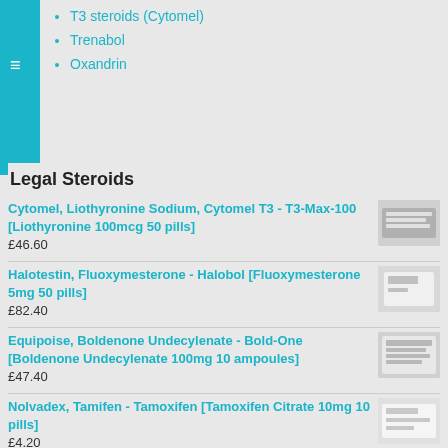T3 steroids (Cytomel)
Trenabol
Oxandrin
Legal Steroids
Cytomel, Liothyronine Sodium, Cytomel T3 - T3-Max-100 [Liothyronine 100mcg 50 pills]
£46.60
Halotestin, Fluoxymesterone - Halobol [Fluoxymesterone 5mg 50 pills]
£82.40
Equipoise, Boldenone Undecylenate - Bold-One [Boldenone Undecylenate 100mg 10 ampoules]
£47.40
Nolvadex, Tamifen - Tamoxifen [Tamoxifen Citrate 10mg 10 pills]
£4.20
Nolvadex, Tamifen - Tamoxifen [Tamoxifen Citrate 20mg 10 pills]